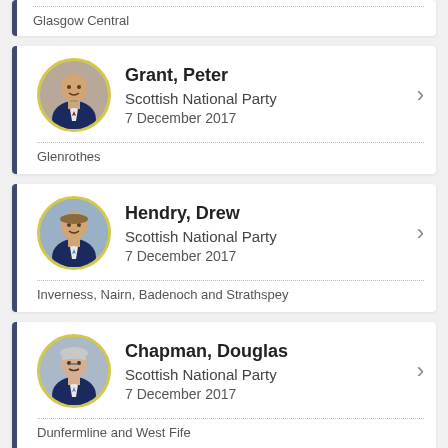Glasgow Central
[Figure (photo): Portrait photo of Peter Grant MP]
Grant, Peter
Scottish National Party
7 December 2017
Glenrothes
[Figure (photo): Portrait photo of Drew Hendry MP]
Hendry, Drew
Scottish National Party
7 December 2017
Inverness, Nairn, Badenoch and Strathspey
[Figure (photo): Portrait photo of Douglas Chapman MP]
Chapman, Douglas
Scottish National Party
7 December 2017
Dunfermline and West Fife